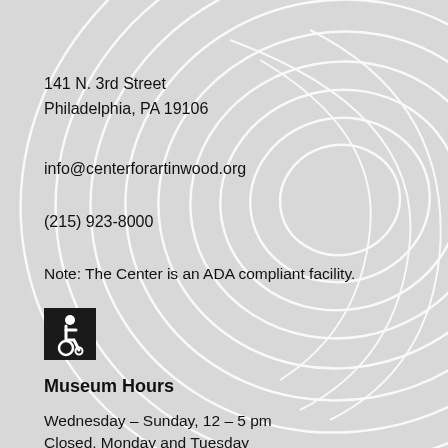141 N. 3rd Street
Philadelphia, PA 19106
info@centerforartinwood.org
(215) 923-8000
Note: The Center is an ADA compliant facility.
[Figure (illustration): Wheelchair accessibility icon — white figure in wheelchair on black square background]
Museum Hours
Wednesday – Sunday, 12 – 5 pm
Closed, Monday and Tuesday